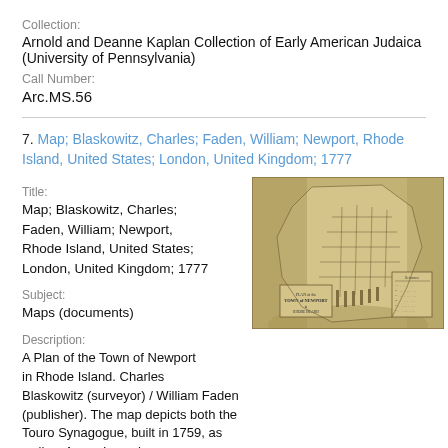Collection:
Arnold and Deanne Kaplan Collection of Early American Judaica (University of Pennsylvania)
Call Number:
Arc.MS.56
7. Map; Blaskowitz, Charles; Faden, William; Newport, Rhode Island, United States; London, United Kingdom; 1777
Title:
Map; Blaskowitz, Charles; Faden, William; Newport, Rhode Island, United States; London, United Kingdom; 1777
[Figure (map): Historical map: A Plan of the Town of Newport in Rhode Island, 1777]
Subject:
Maps (documents)
Description:
A Plan of the Town of Newport in Rhode Island. Charles Blaskowitz (surveyor) / William Faden (publisher). The map depicts both the Touro Synagogue, built in 1759, as well as Aaron Lopez's